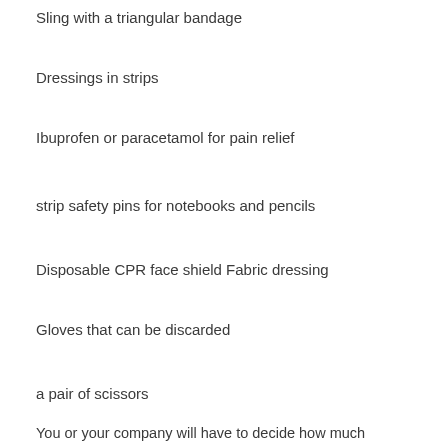Sling with a triangular bandage
Dressings in strips
Ibuprofen or paracetamol for pain relief
strip safety pins for notebooks and pencils
Disposable CPR face shield Fabric dressing
Gloves that can be discarded
a pair of scissors
You or your company will have to decide how much